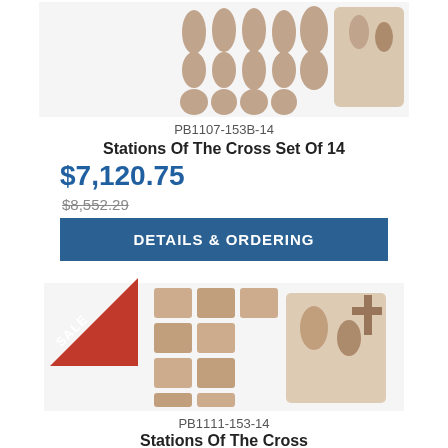[Figure (photo): Set of 14 religious bronze/stone figurines showing Stations of the Cross arranged in rows, with a larger display piece on the right]
PB1107-153B-14
Stations Of The Cross Set Of 14
$7,120.75
$8,552.29
DETAILS & ORDERING
[Figure (photo): Set of 14 religious stone/resin figurines showing Stations of the Cross, arranged in grid with larger detailed piece on right. Sale badge in corner.]
PB1111-153-14
Stations Of The Cross